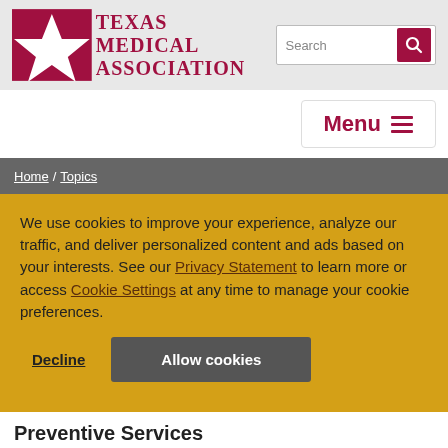[Figure (logo): Texas Medical Association logo with red star and text]
Menu
Home / Topics
We use cookies to improve your experience, analyze our traffic, and deliver personalized content and ads based on your interests. See our Privacy Statement to learn more or access Cookie Settings at any time to manage your cookie preferences.
Decline  Allow cookies
Preventive Services